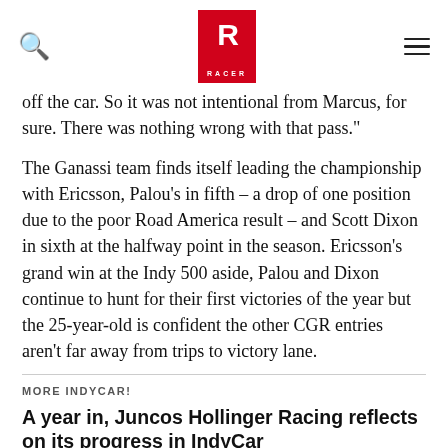RACER
off the car. So it was not intentional from Marcus, for sure. There was nothing wrong with that pass."
The Ganassi team finds itself leading the championship with Ericsson, Palou's in fifth – a drop of one position due to the poor Road America result – and Scott Dixon in sixth at the halfway point in the season. Ericsson's grand win at the Indy 500 aside, Palou and Dixon continue to hunt for their first victories of the year but the 25-year-old is confident the other CGR entries aren't far away from trips to victory lane.
MORE INDYCAR!
A year in, Juncos Hollinger Racing reflects on its progress in IndyCar
INSIGHT: Rosenqvist's season of redemption
Mediation continues between Ganassi and Palou